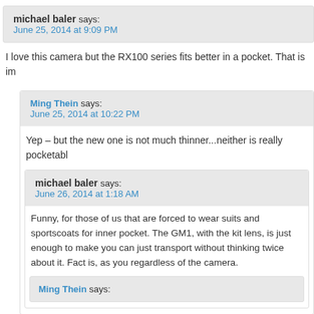michael baler says: June 25, 2014 at 9:09 PM
I love this camera but the RX100 series fits better in a pocket. That is im
Ming Thein says: June 25, 2014 at 10:22 PM
Yep – but the new one is not much thinner...neither is really pocketabl
michael baler says: June 26, 2014 at 1:18 AM
Funny, for those of us that are forced to wear suits and sportscoats for inner pocket. The GM1, with the kit lens, is just enough to make you can just transport without thinking twice about it. Fact is, as you regardless of the camera.
Ming Thein says: